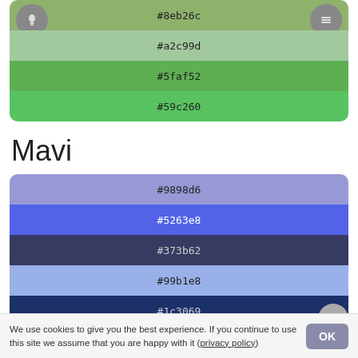[Figure (infographic): Green color palette swatches showing #8eb26c, #a2c99d, #5faf52, #59c260 with light bulb icon and menu icon]
Mavi
[Figure (infographic): Blue color palette swatches showing #9898d6, #5263e8, #373b62, #99b1e8, #1c3069]
We use cookies to give you the best experience. If you continue to use this site we assume that you are happy with it (privacy policy)